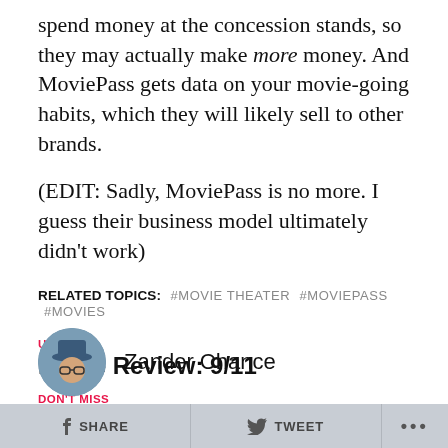spend money at the concession stands, so they may actually make more money. And MoviePass gets data on your movie-going habits, which they will likely sell to other brands.
(EDIT: Sadly, MoviePass is no more. I guess their business model ultimately didn't work)
RELATED TOPICS:  #MOVIE THEATER  #MOVIEPASS  #MOVIES
UP NEXT
Movie Review: 9/11
DON'T MISS
10 Movies We're Totally Excited To Watch This Summer
Zander Chance
SHARE  TWEET  ...